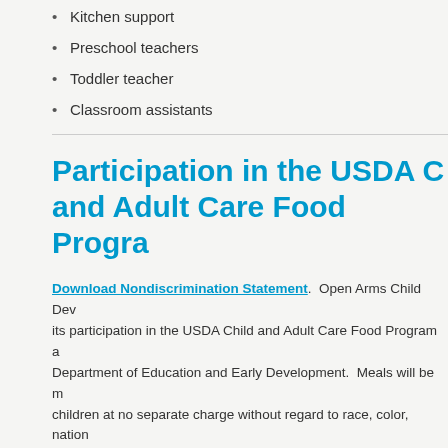Kitchen support
Preschool teachers
Toddler teacher
Classroom assistants
Participation in the USDA Child and Adult Care Food Program
Download Nondiscrimination Statement.  Open Arms Child Development participates in its participation in the USDA Child and Adult Care Food Program administered by the Alaska Department of Education and Early Development.  Meals will be made available to all enrolled children at no separate charge without regard to race, color, national origin, sex, age or disability. Anyone who believes they have been discriminated against should write to:
USDA Director
Office of Civil Rights
Room 326-W Whitten Building